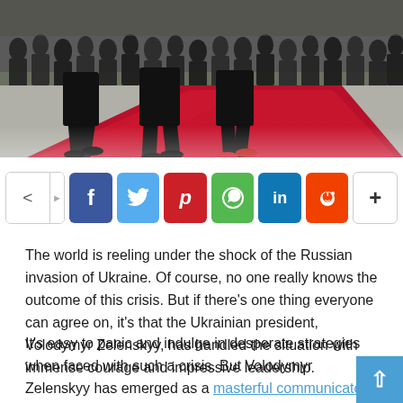[Figure (photo): Photo of people in formal dress walking on a red carpet with a crowd in the background, likely a state ceremony or official event.]
[Figure (infographic): Social media share bar with icons for share (generic), Facebook, Twitter, Pinterest, WhatsApp, LinkedIn, Reddit, and a more (+) button.]
The world is reeling under the shock of the Russian invasion of Ukraine. Of course, no one really knows the outcome of this crisis. But if there's one thing everyone can agree on, it's that the Ukrainian president, Volodymyr Zelenskyy, has handled the situation with immense courage and impressive leadership.
It's easy to panic and indulge in desperate strategies when faced with such a crisis. But Volodymyr Zelenskyy has emerged as a masterful communicator and charismatic leader.